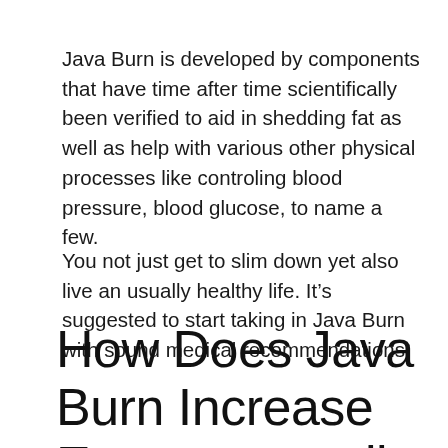Java Burn is developed by components that have time after time scientifically been verified to aid in shedding fat as well as help with various other physical processes like controling blood pressure, blood glucose, to name a few.
You not just get to slim down yet also live an usually healthy life. It’s suggested to start taking in Java Burn with sound medical recommendations.
How Does Java Burn Increase Energy as well as Health And